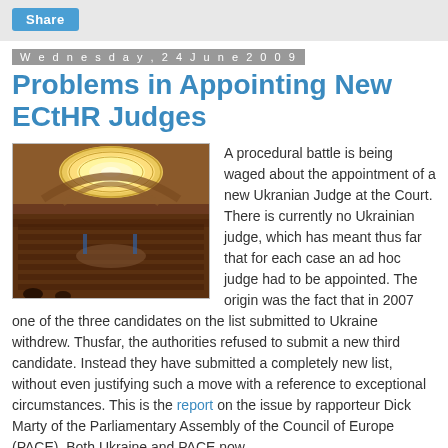Share
Wednesday, 24 June 2009
Problems in Appointing New ECtHR Judges
[Figure (photo): Interior of a large legislative or court assembly hall with circular ceiling light fixture and rows of seated attendees]
A procedural battle is being waged about the appointment of a new Ukranian Judge at the Court. There is currently no Ukrainian judge, which has meant thus far that for each case an ad hoc judge had to be appointed. The origin was the fact that in 2007 one of the three candidates on the list submitted to Ukraine withdrew. Thusfar, the authorities refused to submit a new third candidate. Instead they have submitted a completely new list, without even justifying such a move with a reference to exceptional circumstances. This is the report on the issue by rapporteur Dick Marty of the Parliamentary Assembly of the Council of Europe (PACE). Both Ukraine and PACE now